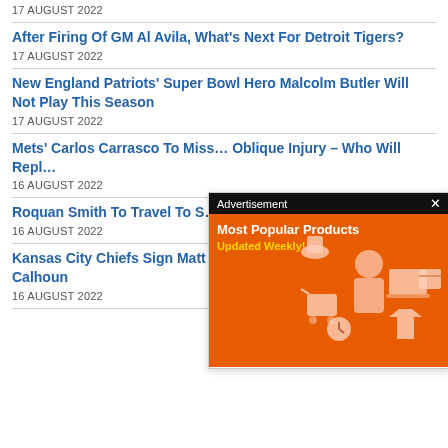17 AUGUST 2022
After Firing Of GM Al Avila, What's Next For Detroit Tigers?
17 AUGUST 2022
New England Patriots' Super Bowl Hero Malcolm Butler Will Not Play This Season
17 AUGUST 2022
Mets' Carlos Carrasco To Miss… Oblique Injury – Who Will Repl…
16 AUGUST 2022
Roquan Smith To Travel To S… Trade From Chicago Bears
16 AUGUST 2022
Kansas City Chiefs Sign Matt Dickerson, Waive Shilique Calhoun
16 AUGUST 2022
[Figure (screenshot): Advertisement overlay showing 'Most Popular Products Updated Weekly!' on an orange background with shopping icons]